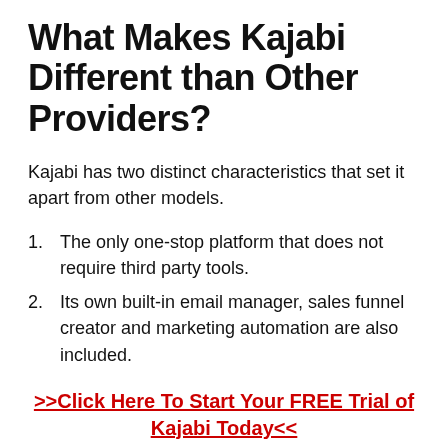What Makes Kajabi Different than Other Providers?
Kajabi has two distinct characteristics that set it apart from other models.
The only one-stop platform that does not require third party tools.
Its own built-in email manager, sales funnel creator and marketing automation are also included.
>>Click Here To Start Your FREE Trial of Kajabi Today<<
Kajabi Pricing